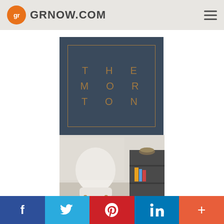GRNOW.COM
[Figure (logo): The Morton brand logo: dark navy blue square with a thin gold inner border rectangle. Text inside reads 'THE MOR TON' in spaced gold capital letters arranged in three rows.]
[Figure (photo): Interior room photo showing a white modern chair with wooden legs, a dark bookshelf/cabinet, and a person's feet in the foreground. Soft, bright natural lighting.]
f  Twitter  P  in  +